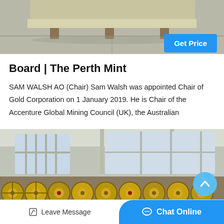[Figure (photo): Top portion of a machine or equipment on a concrete floor, partially cropped at the top of the page.]
Board | The Perth Mint
SAM WALSH AO (Chair) Sam Walsh was appointed Chair of Gold Corporation on 1 January 2019. He is Chair of the Accenture Global Mining Council (UK), the Australian
[Figure (photo): Interior of an industrial warehouse or facility with corrugated metal walls and windows, with rows of large industrial cable drums or spools in the foreground.]